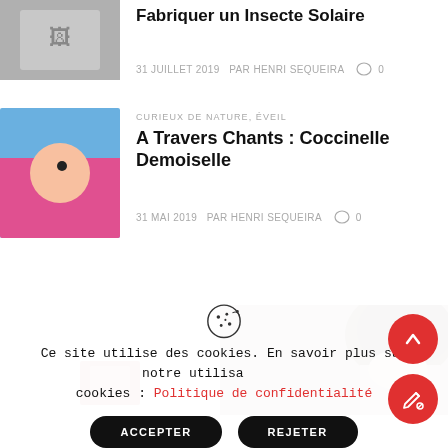[Figure (photo): Thumbnail image partially cropped at top-left]
Fabriquer un Insecte Solaire
31 JUILLET 2019   PAR HENRI SEQUEIRA   0
[Figure (photo): Photo of hands holding a ladybug on blue/pink background]
CURIEUX DE NATURE, ÉVEIL
A Travers Chants : Coccinelle Demoiselle
31 MAI 2019   PAR HENRI SEQUEIRA   0
[Figure (photo): Two banner images at bottom: light area with small thumbnail, and person with curly hair on right]
Ce site utilise des cookies. En savoir plus sur notre utilisation des cookies : Politique de confidentialité
ACCEPTER
REJETER